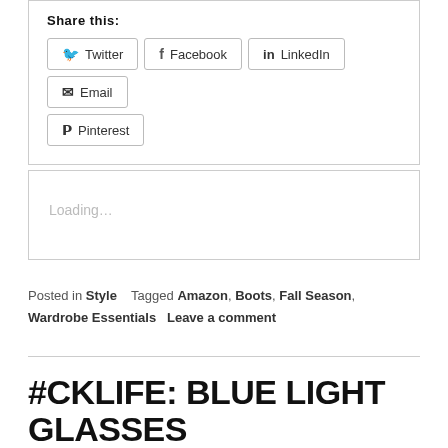Share this:
Twitter
Facebook
LinkedIn
Email
Pinterest
Loading…
Posted in Style   Tagged Amazon, Boots, Fall Season, Wardrobe Essentials   Leave a comment
#CKLIFE: BLUE LIGHT GLASSES FROM AMAZON